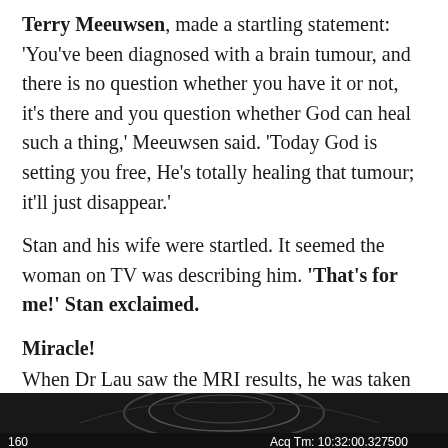Terry Meeuwsen, made a startling statement: 'You've been diagnosed with a brain tumour, and there is no question whether you have it or not, it's there and you question whether God can heal such a thing,' Meeuwsen said. 'Today God is setting you free, He's totally healing that tumour; it'll just disappear.'
Stan and his wife were startled. It seemed the woman on TV was describing him. 'That's for me!' Stan exclaimed.
Miracle!
When Dr Lau saw the MRI results, he was taken aback. Where there had been a white image of the tumour, now there was only black, indicating there was a hole. 'There's a hole in the brain!' he shouted. 'There's a hole in the brain!'
[Figure (screenshot): MRI scan image with dark background showing brain scan. Bottom bar shows '160' on left and 'Acq Tm: 10:32:00.327500' on right in white text on black background.]